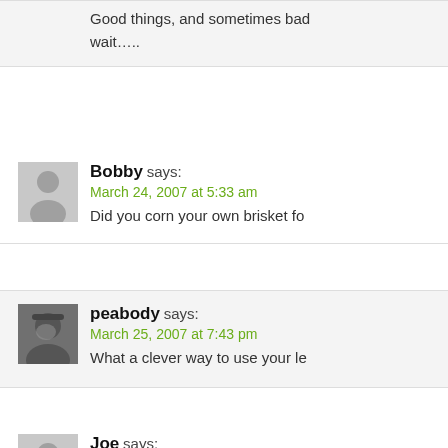Good things, and sometimes bad…wait…..
Bobby says:
March 24, 2007 at 5:33 am
Did you corn your own brisket fo…
peabody says:
March 25, 2007 at 7:43 pm
What a clever way to use your le…
Joe says:
March 26, 2007 at 11:07 am
With your recipes and the aweso…